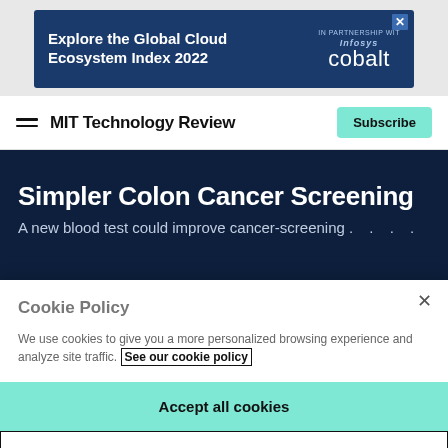[Figure (other): Advertisement banner for Infosys Cobalt Global Cloud Ecosystem Index 2022 with blue background]
MIT Technology Review
Simpler Colon Cancer Screening
A new blood test could improve cancer-screening . . . .
Cookie Policy
We use cookies to give you a more personalized browsing experience and analyze site traffic. See our cookie policy
Accept all cookies
Cookies settings